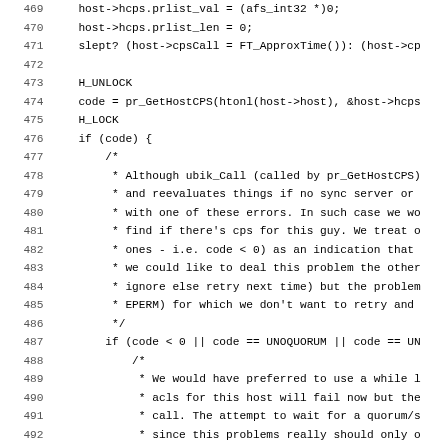[Figure (other): Source code listing in C, lines 469-501, showing host CPS (Cells Per Second) handling logic with H_UNLOCK/H_LOCK, pr_GetHostCPS calls, error handling comments, and ViceLog calls]